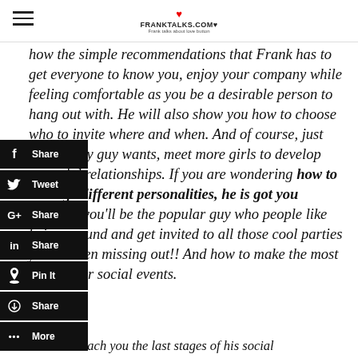FRANKTALKS.COM
how the simple recommendations that Frank has to get everyone to know you, enjoy your company while feeling comfortable as you be a desirable person to hang out with. He will also show you how to choose who to invite where and when. And of course, just what every guy wants, meet more girls to develop potential relationships. If you are wondering how to manage different personalities, he is got you covered, you'll be the popular guy who people like being around and get invited to all those cool parties you've been missing out!! And how to make the most out of your social events.
This will teach you the last stages of his social